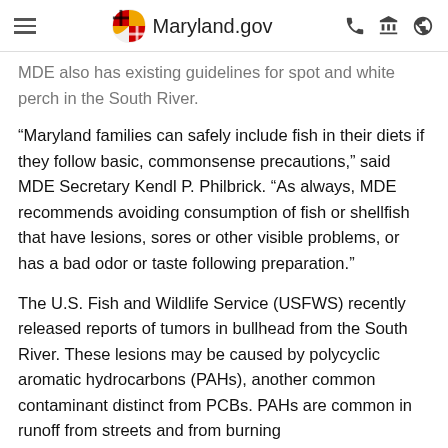Maryland.gov
MDE also has existing guidelines for spot and white perch in the South River.
“Maryland families can safely include fish in their diets if they follow basic, commonsense precautions,” said MDE Secretary Kendl P. Philbrick. “As always, MDE recommends avoiding consumption of fish or shellfish that have lesions, sores or other visible problems, or has a bad odor or taste following preparation.”
The U.S. Fish and Wildlife Service (USFWS) recently released reports of tumors in bullhead from the South River. These lesions may be caused by polycyclic aromatic hydrocarbons (PAHs), another common contaminant distinct from PCBs. PAHs are common in runoff from streets and from burning